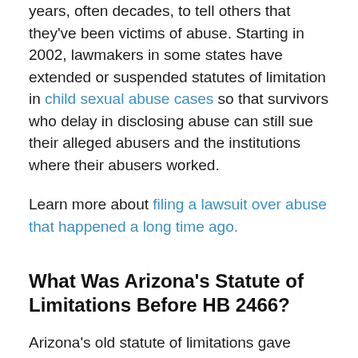years, often decades, to tell others that they've been victims of abuse. Starting in 2002, lawmakers in some states have extended or suspended statutes of limitation in child sexual abuse cases so that survivors who delay in disclosing abuse can still sue their alleged abusers and the institutions where their abusers worked.
Learn more about filing a lawsuit over abuse that happened a long time ago.
What Was Arizona's Statute of Limitations Before HB 2466?
Arizona's old statute of limitations gave victims of sexual abuse until the age of 20 to file a civil suit. In practice, this was only a two-year statute of